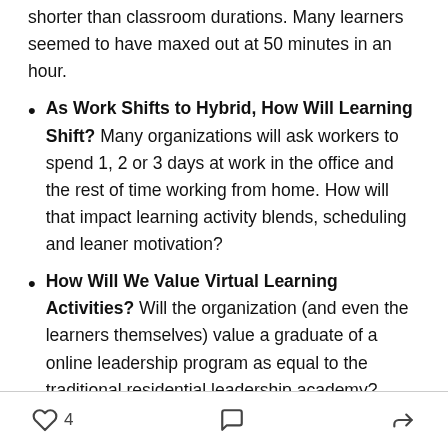shorter than classroom durations. Many learners seemed to have maxed out at 50 minutes in an hour.
As Work Shifts to Hybrid, How Will Learning Shift? Many organizations will ask workers to spend 1, 2 or 3 days at work in the office and the rest of time working from home. How will that impact learning activity blends, scheduling and leaner motivation?
How Will We Value Virtual Learning Activities? Will the organization (and even the learners themselves) value a graduate of a online leadership program as equal to the traditional residential leadership academy?
4 likes, comment, share icons